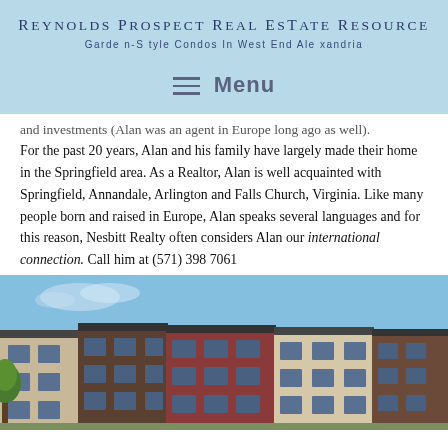Reynolds Prospect Real Estate Resource
Garden-Style Condos In West End Alexandria
≡  Menu
and investments (Alan was an agent in Europe long ago as well). For the past 20 years, Alan and his family have largely made their home in the Springfield area. As a Realtor, Alan is well acquainted with Springfield, Annandale, Arlington and Falls Church, Virginia. Like many people born and raised in Europe, Alan speaks several languages and for this reason, Nesbitt Realty often considers Alan our international connection. Call him at (571) 398 7061
[Figure (photo): Exterior photo of multi-colored brick townhouse/condo buildings under a blue sky]